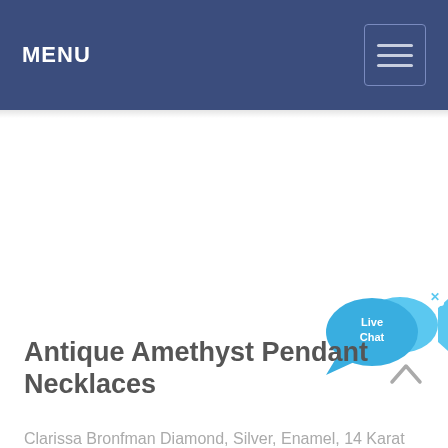MENU
[Figure (illustration): Live Chat widget with speech bubble and fish icon, showing 'Live Chat' text and a close (x) button]
Antique Amethyst Pendant Necklaces
Clarissa Bronfman Diamond, Silver, Enamel, 14 Karat